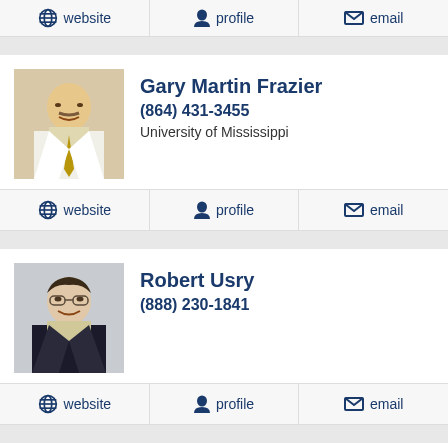website | profile | email
Gary Martin Frazier, (864) 431-3455, University of Mississippi, website | profile | email
Robert Usry, (888) 230-1841, website | profile | email
John R Holland, (864) 582-0416